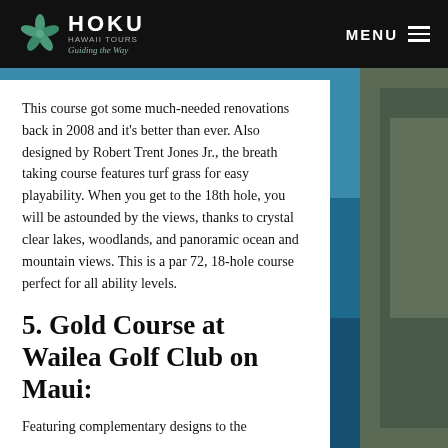HOKU HAWAII TOURS Guiding the Way | MENU
This course got some much-needed renovations back in 2008 and it's better than ever. Also designed by Robert Trent Jones Jr., the breath taking course features turf grass for easy playability. When you get to the 18th hole, you will be astounded by the views, thanks to crystal clear lakes, woodlands, and panoramic ocean and mountain views. This is a par 72, 18-hole course perfect for all ability levels.
5. Gold Course at Wailea Golf Club on Maui:
Featuring complementary designs to the